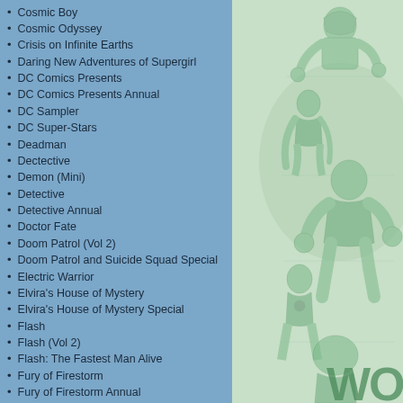Cosmic Boy
Cosmic Odyssey
Crisis on Infinite Earths
Daring New Adventures of Supergirl
DC Comics Presents
DC Comics Presents Annual
DC Sampler
DC Super-Stars
Deadman
Dectective
Demon (Mini)
Detective
Detective Annual
Doctor Fate
Doom Patrol (Vol 2)
Doom Patrol and Suicide Squad Special
Electric Warrior
Elvira's House of Mystery
Elvira's House of Mystery Special
Flash
Flash (Vol 2)
Flash: The Fastest Man Alive
Fury of Firestorm
Fury of Firestorm Annual
Ghosts
GI Combat
Gilgamesh II
Green Arrow
Green Arrow (Mini)
Green Arrow Annual
[Figure (illustration): Green-tinted illustration of various DC Comics superheroes stacked vertically, with partial text 'WO' visible at bottom right]